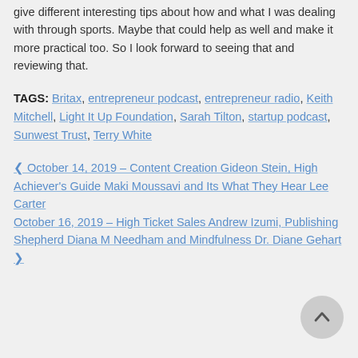give different interesting tips about how and what I was dealing with through sports. Maybe that could help as well and make it more practical too. So I look forward to seeing that and reviewing that.
TAGS: Britax, entrepreneur podcast, entrepreneur radio, Keith Mitchell, Light It Up Foundation, Sarah Tilton, startup podcast, Sunwest Trust, Terry White
October 14, 2019 – Content Creation Gideon Stein, High Achiever's Guide Maki Moussavi and Its What They Hear Lee Carter October 16, 2019 – High Ticket Sales Andrew Izumi, Publishing Shepherd Diana M Needham and Mindfulness Dr. Diane Gehart